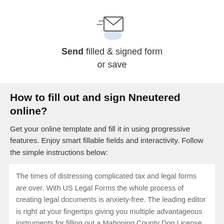[Figure (illustration): Email/send icon: envelope with motion lines and a blue circular badge beneath it]
Send filled & signed form
or save
How to fill out and sign Nneutered online?
Get your online template and fill it in using progressive features. Enjoy smart fillable fields and interactivity. Follow the simple instructions below:
The times of distressing complicated tax and legal forms are over. With US Legal Forms the whole process of creating legal documents is anxiety-free. The leading editor is right at your fingertips giving you multiple advantageous instruments for filling out a Mahoning County Dog License.